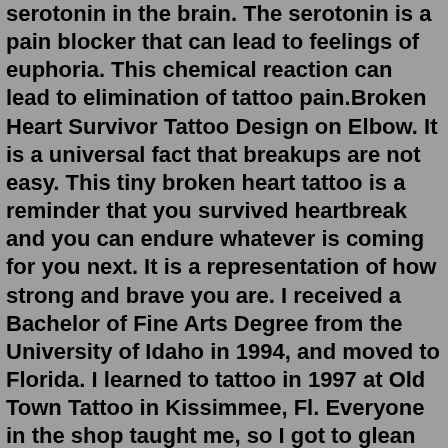serotonin in the brain. The serotonin is a pain blocker that can lead to feelings of euphoria. This chemical reaction can lead to elimination of tattoo pain.Broken Heart Survivor Tattoo Design on Elbow. It is a universal fact that breakups are not easy. This tiny broken heart tattoo is a reminder that you survived heartbreak and you can endure whatever is coming for you next. It is a representation of how strong and brave you are. I received a Bachelor of Fine Arts Degree from the University of Idaho in 1994, and moved to Florida. I learned to tattoo in 1997 at Old Town Tattoo in Kissimmee, Fl. Everyone in the shop taught me, so I got to glean little tricks and nuggets from each of them. I spent about 10 years with them and their sister shop, Studio 2 Tattoo. hollowman Pain of tattoos varies depending on the person, the place, and sometimes the artist. Some people actually enjoy the sensation, and this could be due to higher levels of serotonin in the brain. The serotonin is a pain blocker that can lead to feelings of euphoria. This chemical reaction can lead to elimination of tattoo